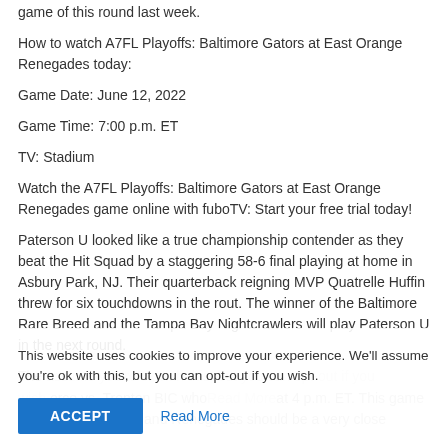game of this round last week.
How to watch A7FL Playoffs: Baltimore Gators at East Orange Renegades today:
Game Date: June 12, 2022
Game Time: 7:00 p.m. ET
TV: Stadium
Watch the A7FL Playoffs: Baltimore Gators at East Orange Renegades game online with fuboTV: Start your free trial today!
Paterson U looked like a true championship contender as they beat the Hit Squad by a staggering 58-6 final playing at home in Asbury Park, NJ. Their quarterback reigning MVP Quatrelle Huffin threw for six touchdowns in the rout. The winner of the Baltimore Rare Breed and the Tampa Bay Nightcrawlers will play Paterson U in the next round.
The ... vs. Trenton BIC who... at 4 p.m. ET. This game between the Gators and Renegades should be a very close
This website uses cookies to improve your experience. We'll assume you're ok with this, but you can opt-out if you wish.